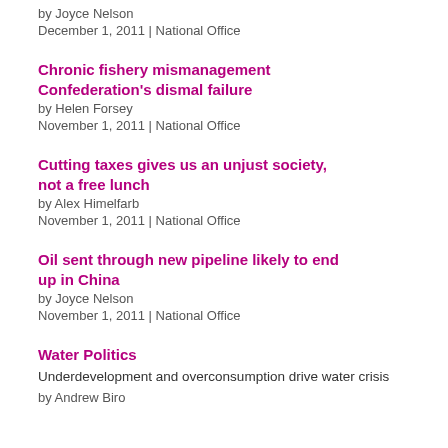by Joyce Nelson
December 1, 2011 | National Office
Chronic fishery mismanagement Confederation's dismal failure
by Helen Forsey
November 1, 2011 | National Office
Cutting taxes gives us an unjust society, not a free lunch
by Alex Himelfarb
November 1, 2011 | National Office
Oil sent through new pipeline likely to end up in China
by Joyce Nelson
November 1, 2011 | National Office
Water Politics
Underdevelopment and overconsumption drive water crisis
by Andrew Biro